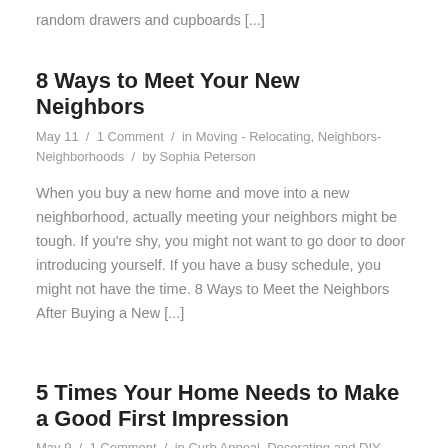random drawers and cupboards [...]
8 Ways to Meet Your New Neighbors
May 11  /  1 Comment  /  in Moving - Relocating, Neighbors-Neighborhoods  /  by Sophia Peterson
When you buy a new home and move into a new neighborhood, actually meeting your neighbors might be tough. If you're shy, you might not want to go door to door introducing yourself. If you have a busy schedule, you might not have the time. 8 Ways to Meet the Neighbors After Buying a New [...]
5 Times Your Home Needs to Make a Good First Impression
May 9  /  1 Comment  /  in Curb Appeal, Decorating and DIY, Home